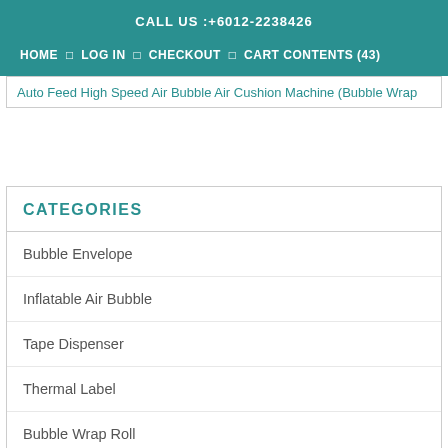CALL US :+6012-2238426
HOME  LOG IN  CHECKOUT  CART CONTENTS (43)
Auto Feed High Speed Air Bubble Air Cushion Machine (Bubble Wrap
CATEGORIES
Bubble Envelope
Inflatable Air Bubble
Tape Dispenser
Thermal Label
Bubble Wrap Roll
Bubble Wrap Bag
Courier Bag